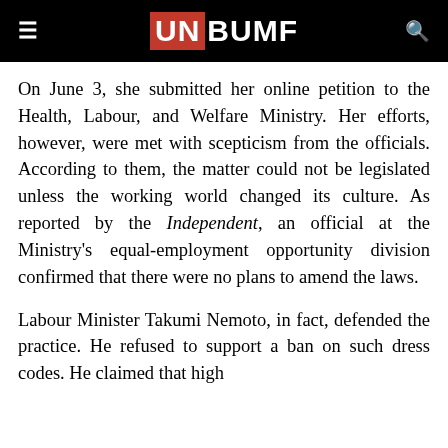UNBUMF
On June 3, she submitted her online petition to the Health, Labour, and Welfare Ministry. Her efforts, however, were met with scepticism from the officials. According to them, the matter could not be legislated unless the working world changed its culture. As reported by the Independent, an official at the Ministry's equal-employment opportunity division confirmed that there were no plans to amend the laws.
Labour Minister Takumi Nemoto, in fact, defended the practice. He refused to support a ban on such dress codes. He claimed that high